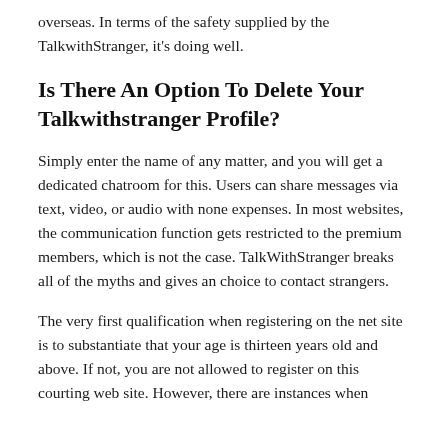overseas. In terms of the safety supplied by the TalkwithStranger, it's doing well.
Is There An Option To Delete Your Talkwithstranger Profile?
Simply enter the name of any matter, and you will get a dedicated chatroom for this. Users can share messages via text, video, or audio with none expenses. In most websites, the communication function gets restricted to the premium members, which is not the case. TalkWithStranger breaks all of the myths and gives an choice to contact strangers.
The very first qualification when registering on the net site is to substantiate that your age is thirteen years old and above. If not, you are not allowed to register on this courting web site. However, there are instances when